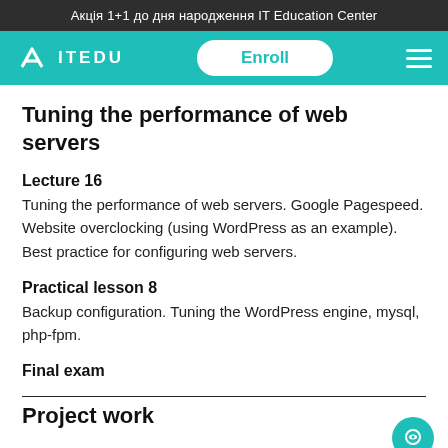Акція 1+1 до дня народження IT Education Center
Tuning the performance of web servers
Lecture 16
Tuning the performance of web servers. Google Pagespeed. Website overclocking (using WordPress as an example). Best practice for configuring web servers.
Practical lesson 8
Backup configuration. Tuning the WordPress engine, mysql, php-fpm.
Final exam
Project work